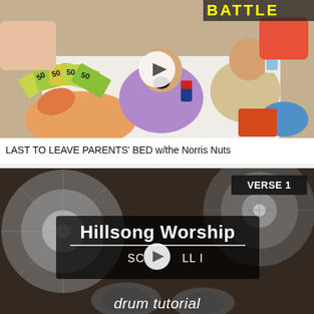[Figure (photo): YouTube video thumbnail showing people on a bed with Australian $50 banknotes, a Red Bull can, snacks, and phones. Text overlay partially visible at top right. Play button in center.]
LAST TO LEAVE PARENTS' BED w/the Norris Nuts
[Figure (photo): YouTube video thumbnail showing a drum kit from overhead angle with cymbals visible. Text overlays read: 'VERSE 1' (top right badge), 'Hillsong Worship', 'SCROLL I' with play button, and 'drum tutorial' at bottom.]